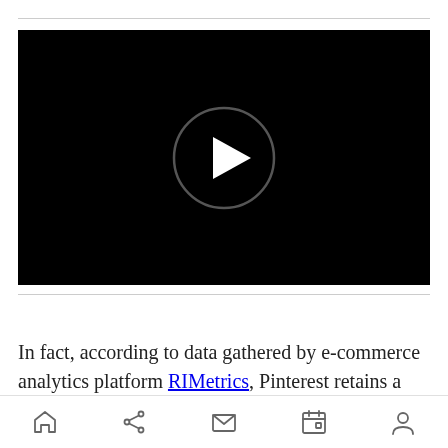[Figure (screenshot): Black video player with circular play button in center]
In fact, according to data gathered by e-commerce analytics platform RIMetrics, Pinterest retains a